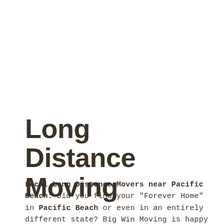Long Distance Moving
Local Long Distance Movers near Pacific Beach: Did you find your "Forever Home" in Pacific Beach or even in an entirely different state? Big Win Moving is happy to offer a variety of long-distance moving services for our California neighbors who are planning to relocate to